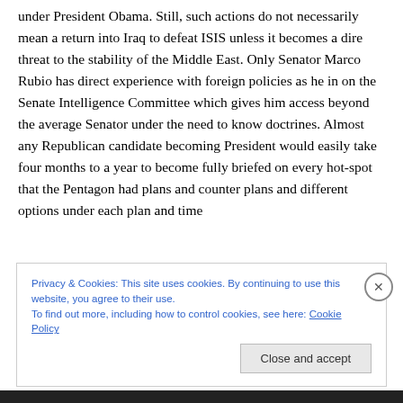under President Obama. Still, such actions do not necessarily mean a return into Iraq to defeat ISIS unless it becomes a dire threat to the stability of the Middle East. Only Senator Marco Rubio has direct experience with foreign policies as he in on the Senate Intelligence Committee which gives him access beyond the average Senator under the need to know doctrines. Almost any Republican candidate becoming President would easily take four months to a year to become fully briefed on every hot-spot that the Pentagon had plans and counter plans and different options under each plan and time
Privacy & Cookies: This site uses cookies. By continuing to use this website, you agree to their use.
To find out more, including how to control cookies, see here: Cookie Policy